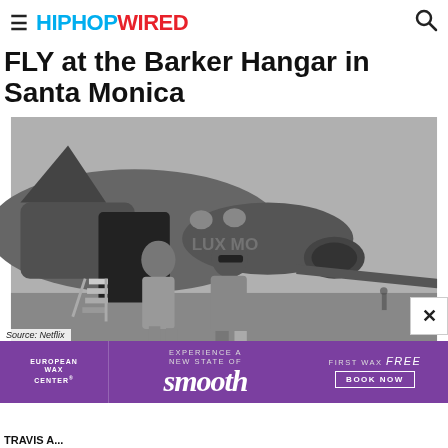HIPHOPWIRED
FLY at the Barker Hangar in Santa Monica
[Figure (photo): Black and white photograph of two people stepping out of a private jet on a tarmac, likely at Barker Hangar in Santa Monica]
Source: Netflix
TRAVIS A... [article text continues]